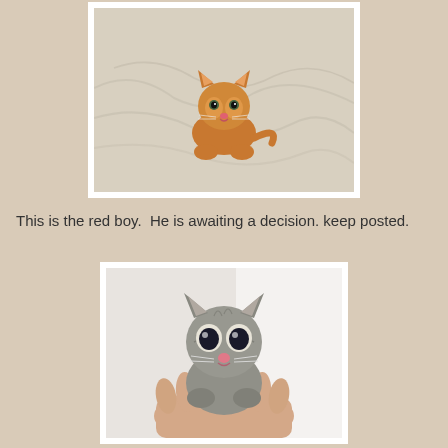[Figure (photo): A small orange/red kitten sitting on a white rumpled bed sheet, looking at the camera. The kitten is very young and tiny.]
This is the red boy.  He is awaiting a decision. keep posted.
[Figure (photo): A small grey tabby kitten being held in a person's hand, looking at the camera with large dark eyes. The kitten has striped markings and a pink nose.]